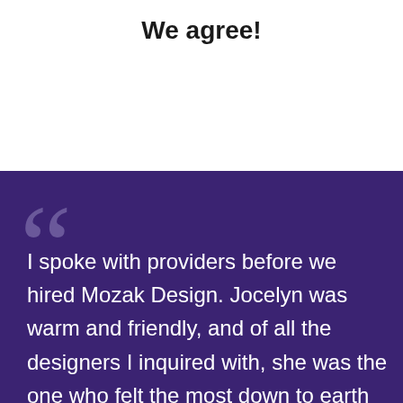We agree!
I spoke with providers before we hired Mozak Design. Jocelyn was warm and friendly, and of all the designers I inquired with, she was the one who felt the most down to earth